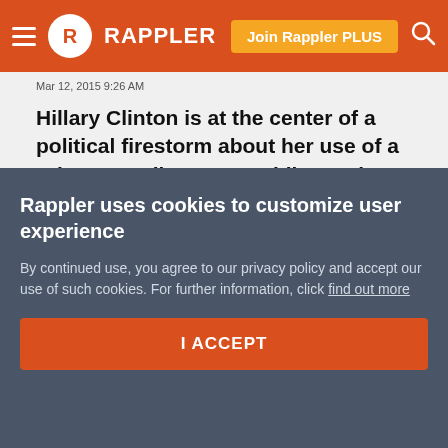Rappler — Join Rappler PLUS
Mar 12, 2015  9:26 AM
Hillary Clinton is at the center of a political firestorm about her use of a private email account while serving as secretary of state and her attempt to douse the flames left many questions unanswered
[Figure (infographic): Social share buttons: Facebook (dark blue circle), Twitter (light blue circle), Reddit (pale blue circle)]
Rappler uses cookies to customize user experience
By continued use, you agree to our privacy policy and accept our use of such cookies. For further information, click find out more
I ACCEPT